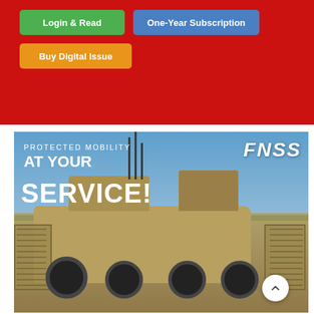[Figure (screenshot): Red background UI header with three buttons: green 'Login & Read', blue 'One-Year Subscription', and orange 'Buy Digital Issue']
[Figure (photo): FNSS military protected mobility vehicle advertisement. Shows an armored wheeled vehicle with slat armor cages and antenna array in an open field. Text reads 'PROTECTED MOBILITY AT YOUR SERVICE!' with FNSS logo in top right.]